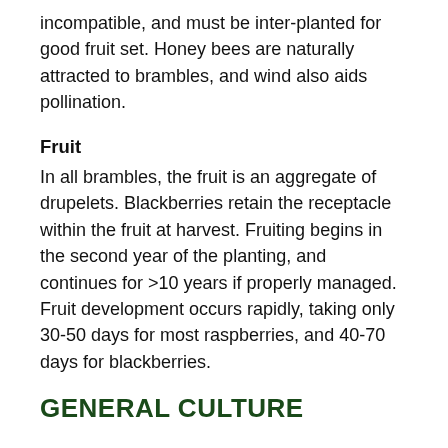incompatible, and must be inter-planted for good fruit set. Honey bees are naturally attracted to brambles, and wind also aids pollination.
Fruit
In all brambles, the fruit is an aggregate of drupelets. Blackberries retain the receptacle within the fruit at harvest. Fruiting begins in the second year of the planting, and continues for >10 years if properly managed. Fruit development occurs rapidly, taking only 30-50 days for most raspberries, and 40-70 days for blackberries.
GENERAL CULTURE